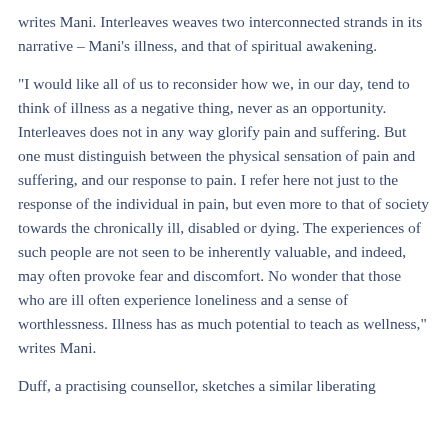writes Mani. Interleaves weaves two interconnected strands in its narrative – Mani's illness, and that of spiritual awakening.
"I would like all of us to reconsider how we, in our day, tend to think of illness as a negative thing, never as an opportunity. Interleaves does not in any way glorify pain and suffering. But one must distinguish between the physical sensation of pain and suffering, and our response to pain. I refer here not just to the response of the individual in pain, but even more to that of society towards the chronically ill, disabled or dying. The experiences of such people are not seen to be inherently valuable, and indeed, may often provoke fear and discomfort. No wonder that those who are ill often experience loneliness and a sense of worthlessness. Illness has as much potential to teach as wellness," writes Mani.
Duff, a practising counsellor, sketches a similar liberating understanding of illness.